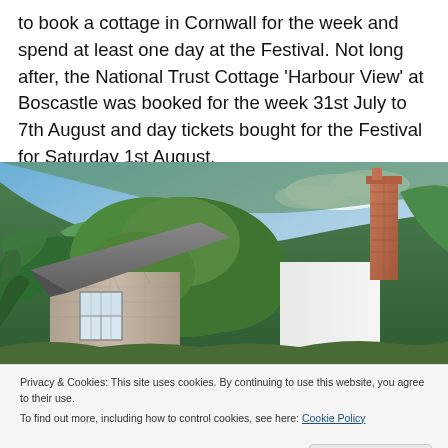to book a cottage in Cornwall for the week and spend at least one day at the Festival. Not long after, the National Trust Cottage 'Harbour View' at Boscastle was booked for the week 31st July to 7th August and day tickets bought for the Festival for Saturday 1st August.
[Figure (photo): Photo of a stone cottage with a slate roof, tall brick chimney, white-rendered walls, and ivy/vegetation growing over it, set against a green hillside and blue sky. A white sash window is visible.]
Privacy & Cookies: This site uses cookies. By continuing to use this website, you agree to their use.
To find out more, including how to control cookies, see here: Cookie Policy
Close and accept